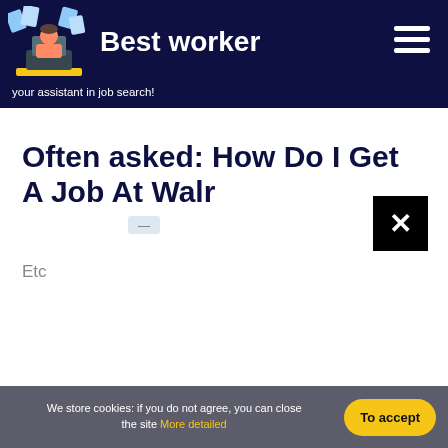Best worker — your assistant in job search!
Often asked: How Do I Get A Job At Walr
Etc
We store cookies: if you do not agree, you can close the site More detailed